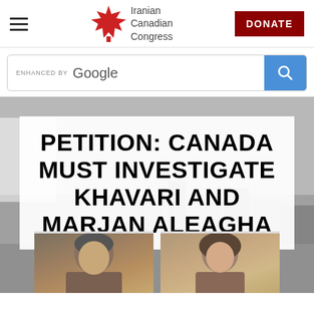[Figure (logo): Iranian Canadian Congress maple leaf logo with text 'Iranian Canadian Congress']
DONATE
[Figure (screenshot): Google search bar with 'ENHANCED BY Google' label and blue search button]
PETITION: CANADA MUST INVESTIGATE KHAVARI AND MARJAN ALEAGHA
[Figure (photo): Two portrait photos at the bottom: a man on the left and a woman on the right]